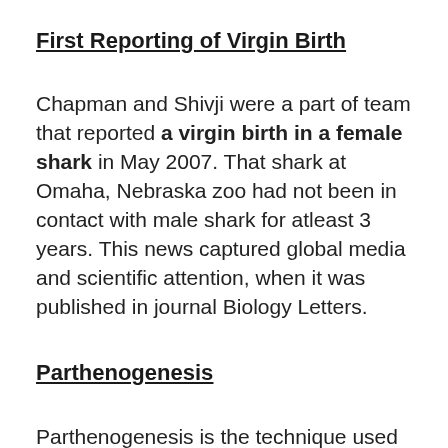First Reporting of Virgin Birth
Chapman and Shivji were a part of team that reported a virgin birth in a female shark in May 2007. That shark at Omaha, Nebraska zoo had not been in contact with male shark for atleast 3 years. This news captured global media and scientific attention, when it was published in journal Biology Letters.
Parthenogenesis
Parthenogenesis is the technique used for DNA fingerprinting in human